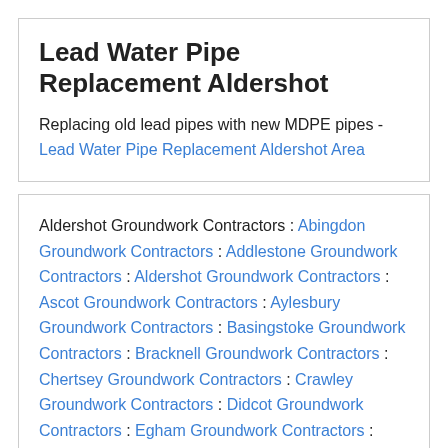Lead Water Pipe Replacement Aldershot
Replacing old lead pipes with new MDPE pipes - Lead Water Pipe Replacement Aldershot Area
Aldershot Groundwork Contractors : Abingdon Groundwork Contractors : Addlestone Groundwork Contractors : Aldershot Groundwork Contractors : Ascot Groundwork Contractors : Aylesbury Groundwork Contractors : Basingstoke Groundwork Contractors : Bracknell Groundwork Contractors : Chertsey Groundwork Contractors : Crawley Groundwork Contractors : Didcot Groundwork Contractors : Egham Groundwork Contractors : Epsom Groundwork Contractors : Godalming Groundwork Contractors : Guildford Groundwork Contractors :